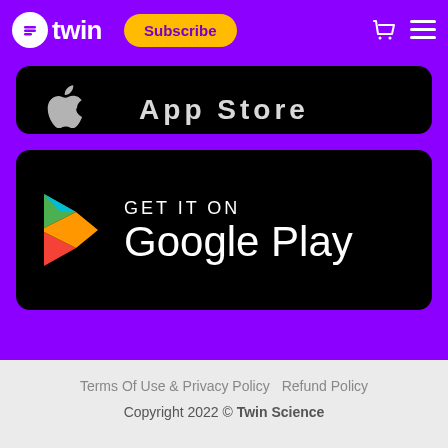twin  Subscribe
[Figure (screenshot): Partially cropped app store banner (Apple App Store), text partially visible showing 'App Store']
[Figure (screenshot): Google Play Store download badge — black rounded rectangle with Play Store triangle logo and text 'GET IT ON Google Play']
Terms Of Use & Privacy Policy   Refund Policy
Copyright 2022 © Twin Science